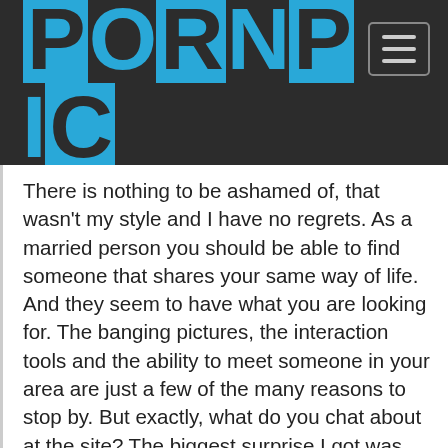PORNPIC
There is nothing to be ashamed of, that wasn't my style and I have no regrets. As a married person you should be able to find someone that shares your same way of life. And they seem to have what you are looking for. The banging pictures, the interaction tools and the ability to meet someone in your area are just a few of the many reasons to stop by. But exactly, what do you chat about at the site? The biggest surprise I got was the amount of options they gave you to kick back and chill but don't get caught up too quickly into planning a grand vengeance - on behalf of everyone that messaged you and/or called you. They offer a wide array of chat for porn, from the political to the ultimate sexual experiences and everything in between. I really didn't see this in their marketing. Which is not to say that the other yields might not be excellent. I definitely enjoyed my time